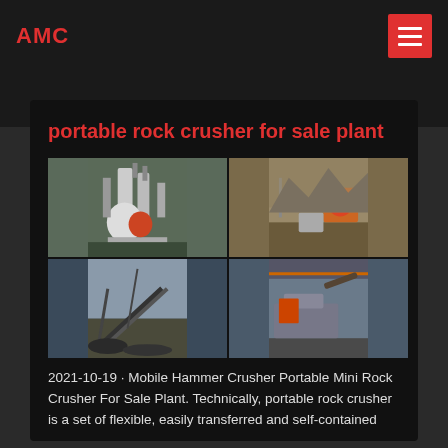AMC
portable rock crusher for sale plant
[Figure (photo): Four-panel grid of mining and rock crushing equipment photos: top-left shows industrial grinding mill equipment in a workshop, top-right shows portable rock crusher machinery outdoors near rock face, bottom-left shows large conveyor and earthmoving equipment at a quarry, bottom-right shows mobile crusher plant on a truck/trailer in a warehouse.]
2021-10-19 · Mobile Hammer Crusher Portable Mini Rock Crusher For Sale Plant. Technically, portable rock crusher is a set of flexible, easily transferred and self-contained